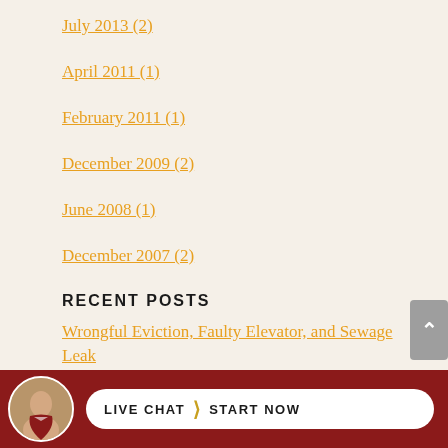July 2013 (2)
April 2011 (1)
February 2011 (1)
December 2009 (2)
June 2008 (1)
December 2007 (2)
RECENT POSTS
Wrongful Eviction, Faulty Elevator, and Sewage Leak
Bus driver charges in wrongful death of 4 passengers